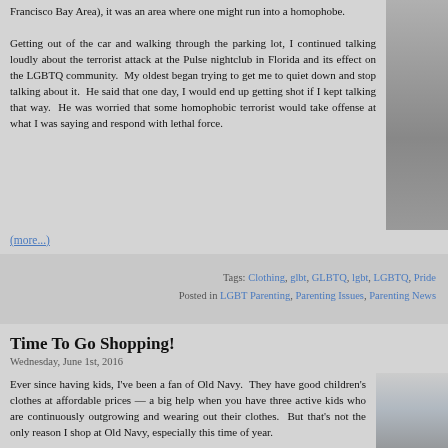Francisco Bay Area), it was an area where one might run into a homophobe.

Getting out of the car and walking through the parking lot, I continued talking loudly about the terrorist attack at the Pulse nightclub in Florida and its effect on the LGBTQ community. My oldest began trying to get me to quiet down and stop talking about it. He said that one day, I would end up getting shot if I kept talking that way. He was worried that some homophobic terrorist would take offense at what I was saying and respond with lethal force.
(more...)
Tags: Clothing, glbt, GLBTQ, lgbt, LGBTQ, Pride
Posted in LGBT Parenting, Parenting Issues, Parenting News
Time To Go Shopping!
Wednesday, June 1st, 2016
Ever since having kids, I've been a fan of Old Navy. They have good children's clothes at affordable prices — a big help when you have three active kids who are continuously outgrowing and wearing out their clothes. But that's not the only reason I shop at Old Navy, especially this time of year.